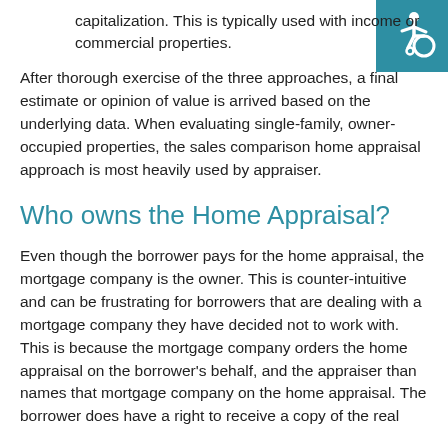capitalization. This is typically used with income or commercial properties.
After thorough exercise of the three approaches, a final estimate or opinion of value is arrived based on the underlying data. When evaluating single-family, owner-occupied properties, the sales comparison home appraisal approach is most heavily used by appraiser.
[Figure (illustration): Accessibility icon: white wheelchair user symbol on teal/blue-green square background, positioned top-right corner]
Who owns the Home Appraisal?
Even though the borrower pays for the home appraisal, the mortgage company is the owner. This is counter-intuitive and can be frustrating for borrowers that are dealing with a mortgage company they have decided not to work with. This is because the mortgage company orders the home appraisal on the borrower's behalf, and the appraiser than names that mortgage company on the home appraisal. The borrower does have a right to receive a copy of the real